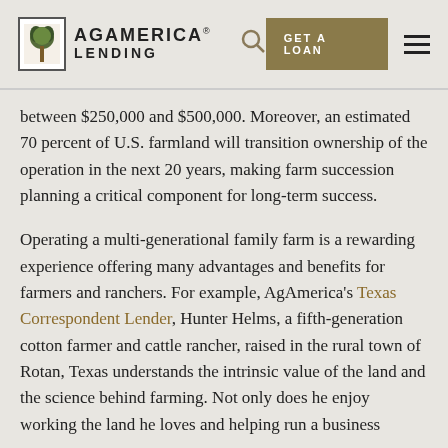AgAmerica Lending | GET A LOAN
between $250,000 and $500,000. Moreover, an estimated 70 percent of U.S. farmland will transition ownership of the operation in the next 20 years, making farm succession planning a critical component for long-term success.
Operating a multi-generational family farm is a rewarding experience offering many advantages and benefits for farmers and ranchers. For example, AgAmerica's Texas Correspondent Lender, Hunter Helms, a fifth-generation cotton farmer and cattle rancher, raised in the rural town of Rotan, Texas understands the intrinsic value of the land and the science behind farming. Not only does he enjoy working the land he loves and helping run a business